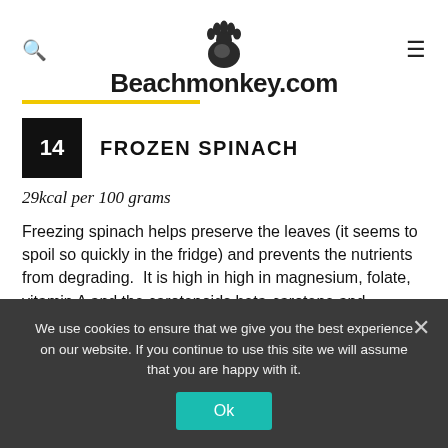Beachmonkey.com
14 FROZEN SPINACH
29kcal per 100 grams
Freezing spinach helps preserve the leaves (it seems to spoil so quickly in the fridge) and prevents the nutrients from degrading.  It is high in high in magnesium, folate, vitamin A and the carotenoids beta-carotene and zeaxanthin.  Frozen...
We use cookies to ensure that we give you the best experience on our website. If you continue to use this site we will assume that you are happy with it.